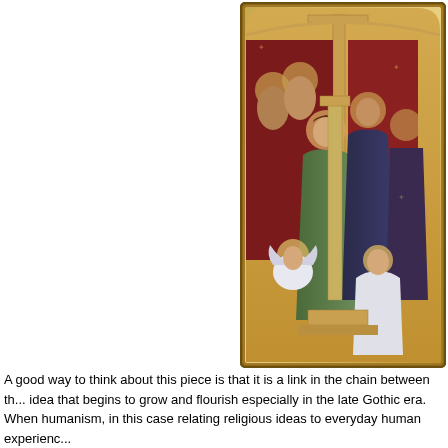[Figure (illustration): A medieval/Gothic religious panel painting (altarpiece) depicting a Madonna enthroned scene. The painting shows several figures with halos including angels and saints gathered around a central throne. The work features gold backgrounds typical of Byzantine and early Italian Gothic style. The panel has an arched top with a decorative gold frame.]
A good way to think about this piece is that it is a link in the chain between th... idea that begins to grow and flourish especially in the late Gothic era. When ... humanism, in this case relating religious ideas to everyday human experienc...